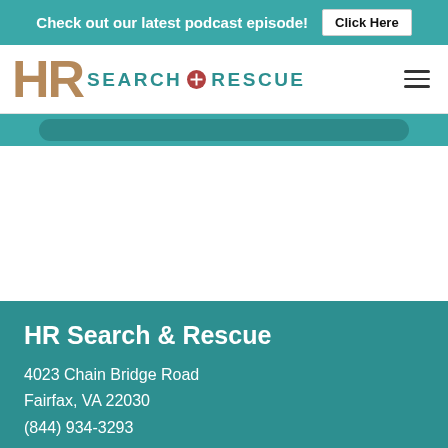Check out our latest podcast episode! Click Here
[Figure (logo): HR Search & Rescue logo with stylized HR in tan/gold, teal SEARCH+RESCUE text, red cross icon, and hamburger menu]
[Figure (other): Teal rounded button strip element]
HR Search & Rescue
4023 Chain Bridge Road
Fairfax, VA 22030
(844) 934-3293
Social media icons: Twitter, Facebook, LinkedIn